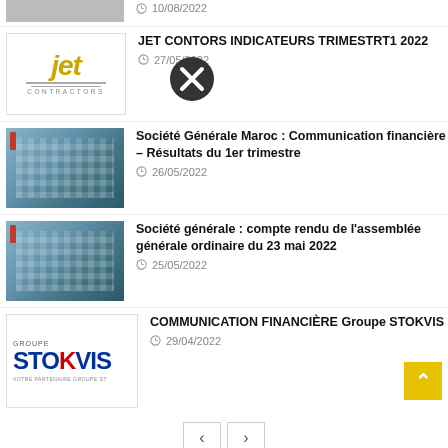10/08/2022
[Figure (logo): Jet Contractors logo in yellow italic text]
JET CONTRACTORS INDICATEURS TRIMESTRIELS T1 2022
27/05/2022
[Figure (photo): Société Générale Maroc building exterior]
Société Générale Maroc : Communication financière – Résultats du 1er trimestre
26/05/2022
[Figure (photo): Société Générale building exterior]
Société générale : compte rendu de l'assemblée générale ordinaire du 23 mai 2022
25/05/2022
[Figure (logo): Groupe Stokvis logo]
COMMUNICATION FINANCIÈRE Groupe STOKVIS
29/04/2022